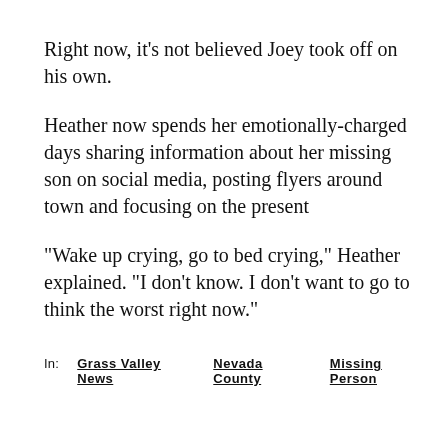Right now, it's not believed Joey took off on his own.
Heather now spends her emotionally-charged days sharing information about her missing son on social media, posting flyers around town and focusing on the present
"Wake up crying, go to bed crying," Heather explained. "I don't know. I don't want to go to think the worst right now."
In:   Grass Valley News   Nevada County   Missing Person